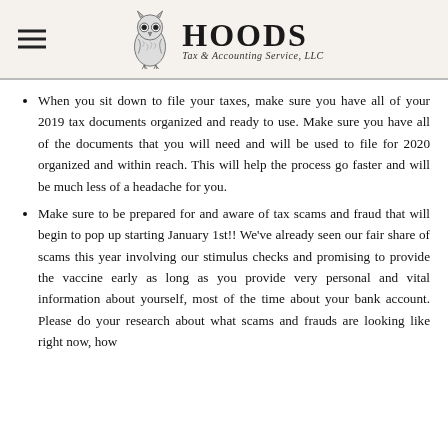HOODS Tax & Accounting Service, LLC
When you sit down to file your taxes, make sure you have all of your 2019 tax documents organized and ready to use. Make sure you have all of the documents that you will need and will be used to file for 2020 organized and within reach. This will help the process go faster and will be much less of a headache for you.
Make sure to be prepared for and aware of tax scams and fraud that will begin to pop up starting January 1st!! We've already seen our fair share of scams this year involving our stimulus checks and promising to provide the vaccine early as long as you provide very personal and vital information about yourself, most of the time about your bank account. Please do your research about what scams and frauds are looking like right now, how